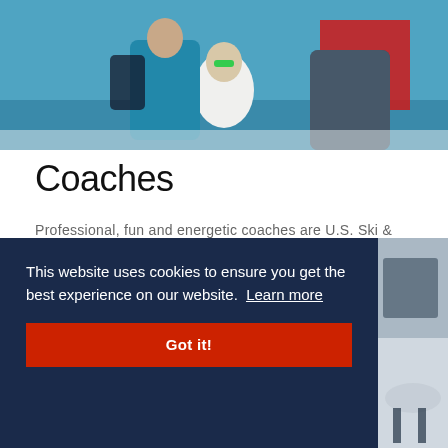[Figure (photo): Photo of ski/snowboard coaches in teal jackets outdoors at a ski event, one person seated in white jacket with sunglasses]
Coaches
Professional, fun and energetic coaches are U.S. Ski & Snowboard's greatest asset.
This website uses cookies to ensure you get the best experience on our website. Learn more
Got it!
[Figure (photo): Photo of a snowy ski slope with dark ski structures visible]